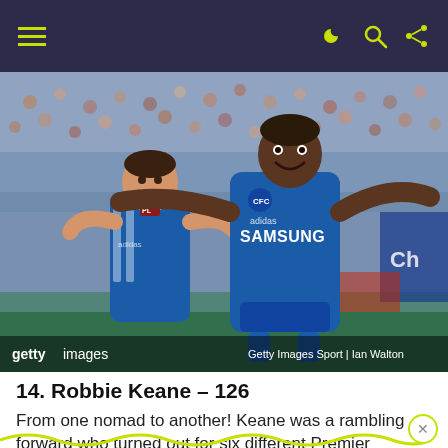Navigation bar with hamburger menu and icons
[Figure (photo): Two Chelsea FC footballers in blue Samsung-sponsored jerseys celebrating on the pitch. A taller Black player spreads his arms wide in celebration while a shorter white player makes a thumbs-up gesture behind him. Stadium crowd visible in the background. Getty Images watermark with 'Getty Images Sport | Ian Walton' credit.]
14. Robbie Keane – 126
From one nomad to another! Keane was a rambling forward who turned out for six different Premier